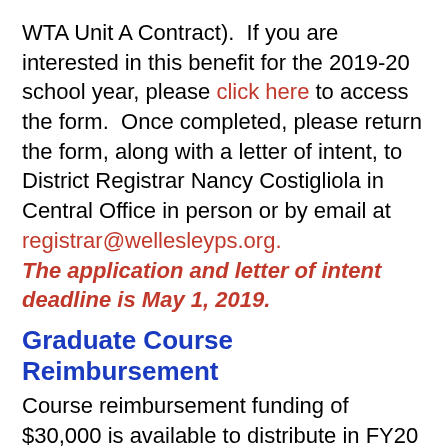WTA Unit A Contract).  If you are interested in this benefit for the 2019-20 school year, please click here to access the form.  Once completed, please return the form, along with a letter of intent, to District Registrar Nancy Costigliola in Central Office in person or by email at registrar@wellesleyps.org.
The application and letter of intent deadline is May 1, 2019.
Graduate Course Reimbursement
Course reimbursement funding of $30,000 is available to distribute in FY20 among qualified teachers.  This funding is for graduate course work done as part of a master’s degree program to fulfill a teacher’s obligations for the Massachusetts Educators Professional License and for course work